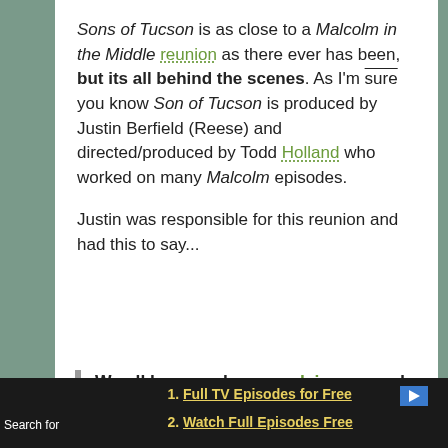Sons of Tucson is as close to a Malcolm in the Middle reunion as there ever has been, but its all behind the scenes. As I'm sure you know Son of Tucson is produced by Justin Berfield (Reese) and directed/produced by Todd Holland who worked on many Malcolm episodes.
Justin was responsible for this reunion and had this to say...
We all knew a show revolving around three young kids requires someone who's done it before and Todd fit that bill immediately, I'd actually been dying to work with him again for the last three years, so I'm glad
Full TV Episodes for Free
Watch Full Episodes Free